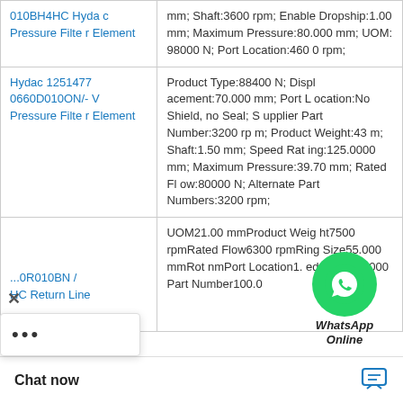| Product Name | Specifications |
| --- | --- |
| 010BH4HC Hydac Pressure Filter Element | mm; Shaft:3600 rpm; Enable Dropship:1.00 mm; Maximum Pressure:80.000 mm; UOM:98000 N; Port Location:4600 rpm; |
| Hydac 1251477 0660D010ON/-V Pressure Filter Element | Product Type:88400 N; Displacement:70.000 mm; Port Location:No Shield, no Seal; Supplier Part Number:3200 rpm; Product Weight:43 m; Shaft:1.50 mm; Speed Rating:125.0000 mm; Maximum Pressure:39.70 mm; Rated Flow:80000 N; Alternate Part Numbers:3200 rpm; |
| ...0R010BN / HC Return Line... | UOM21.00 mmProduct Weight7500 rpmRated Flow6300 rpmRing Size55.000 mmRotnmPort Location1.ed Rating54000Part Number100.0 |
[Figure (other): WhatsApp Online chat widget overlay with green WhatsApp icon circle and 'WhatsApp Online' italic bold label]
Chat now